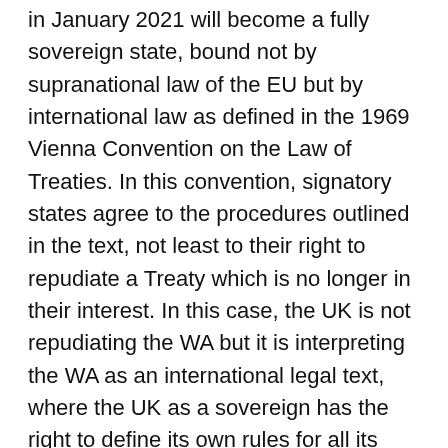in January 2021 will become a fully sovereign state, bound not by supranational law of the EU but by international law as defined in the 1969 Vienna Convention on the Law of Treaties. In this convention, signatory states agree to the procedures outlined in the text, not least to their right to repudiate a Treaty which is no longer in their interest. In this case, the UK is not repudiating the WA but it is interpreting the WA as an international legal text, where the UK as a sovereign has the right to define its own rules for all its territory regarding its internal market. This redefinition obviously means that the interpretation of the WA could be contentious; had the UK government not advanced this bill, the ECJ would have had de facto jurisdiction over UK laws.
The EU rests assured that it has always been negotiating "in good faith".